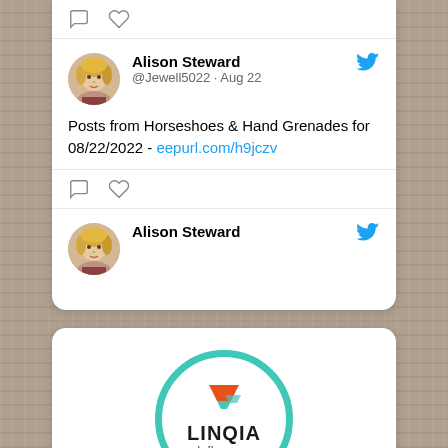[Figure (screenshot): Twitter post card showing Alison Steward (@Jewell5022) tweet from Aug 22 about Posts from Horseshoes & Hand Grenades for 08/22/2022 with link eepurl.com/h9jczv, with comment and heart icons. Below is a partial second tweet by Alison Steward.]
[Figure (logo): Linqia Influencer logo inside a teal circle border, with orange and teal layered icon above the LINQIA wordmark and 'Influencer' text below.]